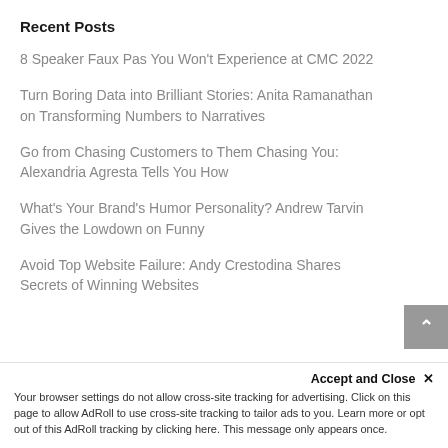Recent Posts
8 Speaker Faux Pas You Won't Experience at CMC 2022
Turn Boring Data into Brilliant Stories: Anita Ramanathan on Transforming Numbers to Narratives
Go from Chasing Customers to Them Chasing You: Alexandria Agresta Tells You How
What's Your Brand's Humor Personality? Andrew Tarvin Gives the Lowdown on Funny
Avoid Top Website Failure: Andy Crestodina Shares Secrets of Winning Websites
Accept and Close ✕
Your browser settings do not allow cross-site tracking for advertising. Click on this page to allow AdRoll to use cross-site tracking to tailor ads to you. Learn more or opt out of this AdRoll tracking by clicking here. This message only appears once.